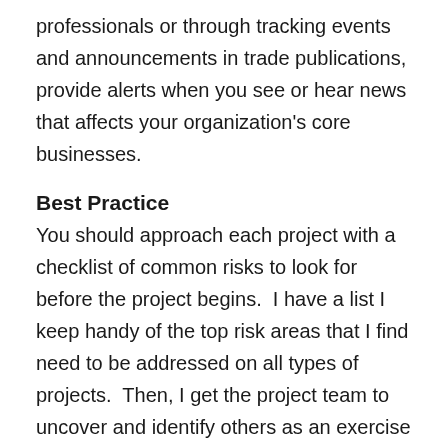professionals or through tracking events and announcements in trade publications, provide alerts when you see or hear news that affects your organization's core businesses.
Best Practice
You should approach each project with a checklist of common risks to look for before the project begins.  I have a list I keep handy of the top risk areas that I find need to be addressed on all types of projects.  Then, I get the project team to uncover and identify others as an exercise prior to the kickoff.  If you will capture your risks at the beginning of the project and then continue to identify and update your register, you will find that you have a valuable list of risks to look out for on the next project.  Additionally, you will begin to have good mitigation strategies even before your next project begins.